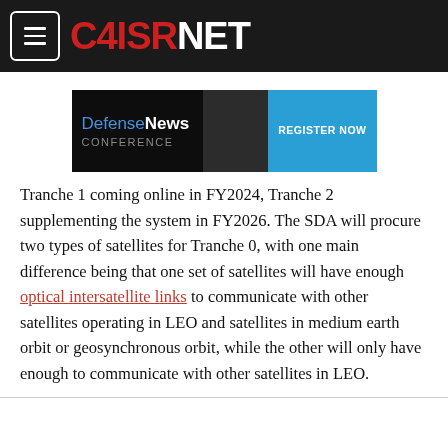C4ISRNET
[Figure (other): Defense News Conference - Register Now advertisement banner]
Tranche 1 coming online in FY2024, Tranche 2 supplementing the system in FY2026. The SDA will procure two types of satellites for Tranche 0, with one main difference being that one set of satellites will have enough optical intersatellite links to communicate with other satellites operating in LEO and satellites in medium earth orbit or geosynchronous orbit, while the other will only have enough to communicate with other satellites in LEO.